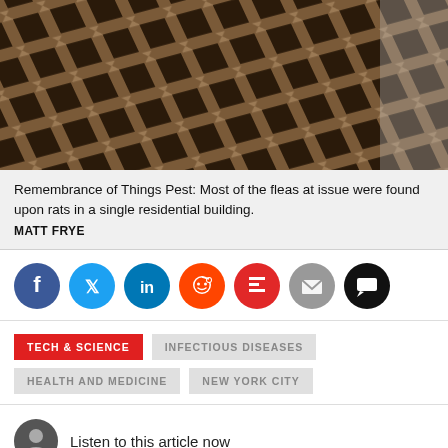[Figure (photo): Close-up photo of a metal grate or grid structure, brownish/rust toned, photographed at an angle showing diamond/square pattern grid openings.]
Remembrance of Things Pest: Most of the fleas at issue were found upon rats in a single residential building.
MATT FRYE
[Figure (infographic): Social share icons row: Facebook (dark blue), Twitter (light blue), LinkedIn (blue), Reddit (orange), Flipboard (red), Email (gray), Comment (black)]
TECH & SCIENCE
INFECTIOUS DISEASES
HEALTH AND MEDICINE
NEW YORK CITY
Listen to this article now